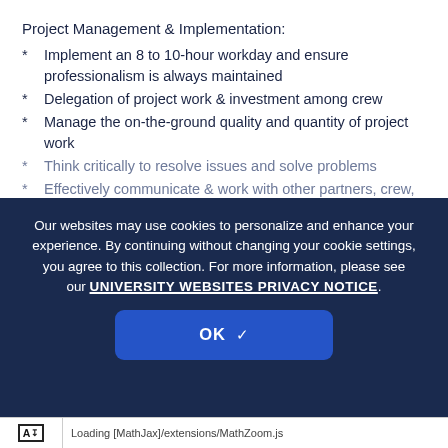Project Management & Implementation:
Implement an 8 to 10-hour workday and ensure professionalism is always maintained
Delegation of project work & investment among crew
Manage the on-the-ground quality and quantity of project work
Think critically to resolve issues and solve problems
Effectively communicate & work with other partners, crew, & SCs
Risk Management:
Analyze environmental conditions and crew health
Exhibit strong situational awareness & promote a culture of safety
Transport crew and equipment in vans or large SUVs with trailers
Our websites may use cookies to personalize and enhance your experience. By continuing without changing your cookie settings, you agree to this collection. For more information, please see our UNIVERSITY WEBSITES PRIVACY NOTICE.
OK
Loading [MathJax]/extensions/MathZoom.js